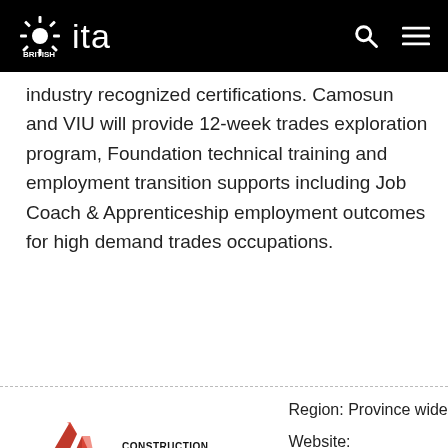British Columbia ITA
industry recognized certifications. Camosun and VIU will provide 12-week trades exploration program, Foundation technical training and employment transition supports including Job Coach & Apprenticeship employment outcomes for high demand trades occupations.
[Figure (logo): Construction Foundation of BC logo — red angular building icon with bold text CONSTRUCTION FOUNDATION OF BC]
Construction Foundation of BC All Roads: First Nations Trades Training
Region: Province wide
Website: www.constructionfo...
Email: info@constructionfoun...